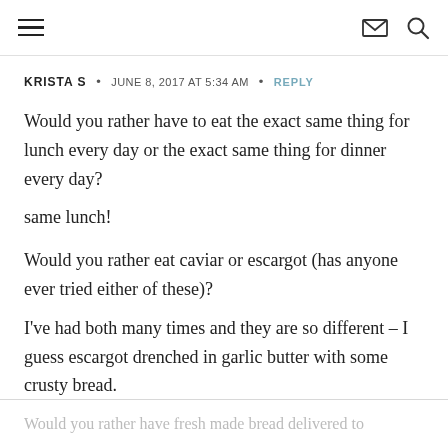Navigation menu, envelope icon, search icon
KRISTA S  •  JUNE 8, 2017 AT 5:34 AM  •  REPLY
Would you rather have to eat the exact same thing for lunch every day or the exact same thing for dinner every day?
same lunch!
Would you rather eat caviar or escargot (has anyone ever tried either of these)?
I've had both many times and they are so different – I guess escargot drenched in garlic butter with some crusty bread.
Would you rather have fresh made bread delivered to